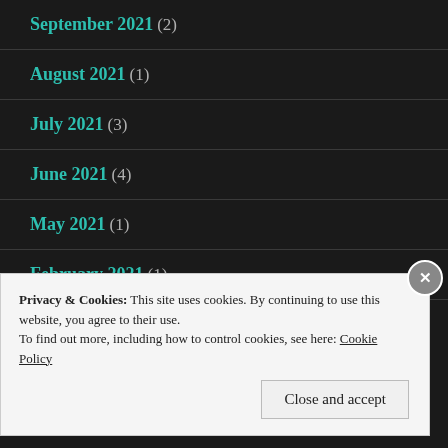September 2021 (2)
August 2021 (1)
July 2021 (3)
June 2021 (4)
May 2021 (1)
February 2021 (1)
Privacy & Cookies: This site uses cookies. By continuing to use this website, you agree to their use.
To find out more, including how to control cookies, see here: Cookie Policy